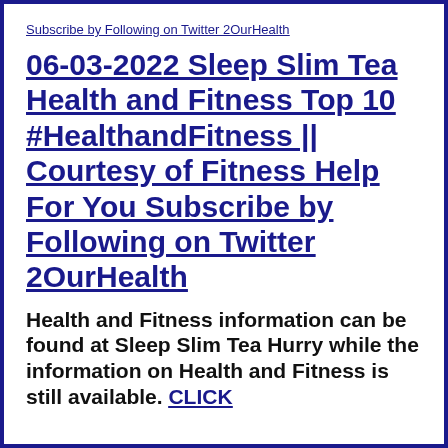Subscribe by Following on Twitter 2OurHealth
06-03-2022 Sleep Slim Tea Health and Fitness Top 10 #HealthandFitness || Courtesy of Fitness Help For You Subscribe by Following on Twitter 2OurHealth
Health and Fitness information can be found at Sleep Slim Tea Hurry while the information on Health and Fitness is still available. CLICK